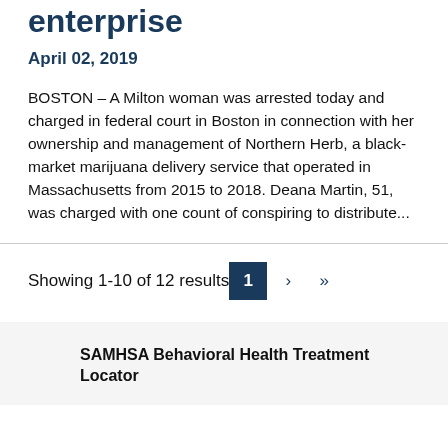enterprise
April 02, 2019
BOSTON – A Milton woman was arrested today and charged in federal court in Boston in connection with her ownership and management of Northern Herb, a black-market marijuana delivery service that operated in Massachusetts from 2015 to 2018. Deana Martin, 51, was charged with one count of conspiring to distribute...
Showing 1-10 of 12 results
SAMHSA Behavioral Health Treatment Locator